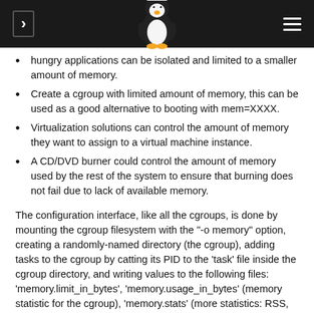Navigation header with Linux penguin logo
hungry applications can be isolated and limited to a smaller amount of memory.
Create a cgroup with limited amount of memory, this can be used as a good alternative to booting with mem=XXXX.
Virtualization solutions can control the amount of memory they want to assign to a virtual machine instance.
A CD/DVD burner could control the amount of memory used by the rest of the system to ensure that burning does not fail due to lack of available memory.
The configuration interface, like all the cgroups, is done by mounting the cgroup filesystem with the "-o memory" option, creating a randomly-named directory (the cgroup), adding tasks to the cgroup by catting its PID to the 'task' file inside the cgroup directory, and writing values to the following files: 'memory.limit_in_bytes', 'memory.usage_in_bytes' (memory statistic for the cgroup), 'memory.stats' (more statistics: RSS, caches, inactive/active pages), 'memory.failcnt' (number of times that the cgroup exceeded the limit), and 'mem_control_type'. OOM conditions are also handled in a per-cgroup manner: when the